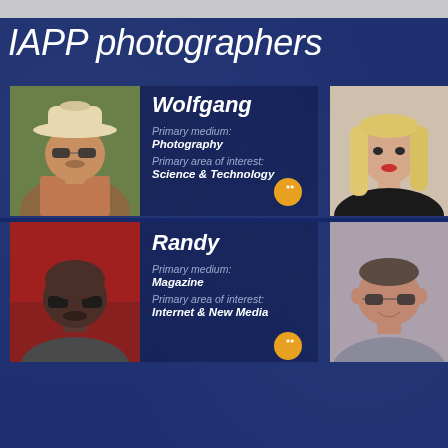IAPP photographers
[Figure (photo): Portrait photo of Wolfgang, man wearing cowboy hat and sunglasses outdoors]
Wolfgang
Primary medium: Photography
Primary area of interest: Science & Technology
[Figure (photo): Portrait photo of blonde woman in black top]
[Figure (photo): Portrait photo of Randy, Black man with glasses]
Randy
Primary medium: Magazine
Primary area of interest: Internet & New Media
[Figure (photo): Portrait photo of man with glasses smiling]